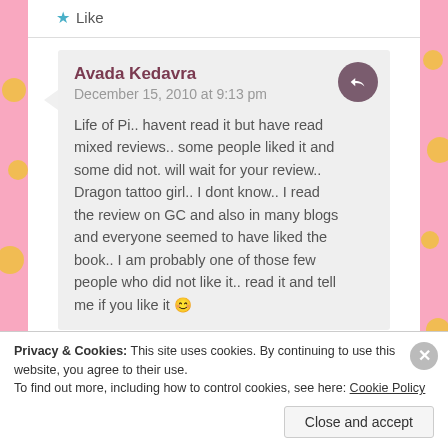Like
Avada Kedavra
December 15, 2010 at 9:13 pm

Life of Pi.. havent read it but have read mixed reviews.. some people liked it and some did not. will wait for your review..
Dragon tattoo girl.. I dont know.. I read the review on GC and also in many blogs and everyone seemed to have liked the book.. I am probably one of those few people who did not like it.. read it and tell me if you like it 🙂
Privacy & Cookies: This site uses cookies. By continuing to use this website, you agree to their use.
To find out more, including how to control cookies, see here: Cookie Policy
Close and accept